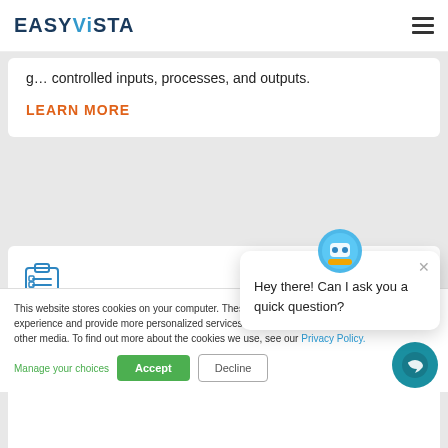EasyVista
controlled inputs, processes, and outputs.
LEARN MORE
[Figure (illustration): Clipboard checklist icon in outline style, blue color]
SERVICE PORT…
This website stores cookies on your computer. These cookies are used to improve your experience and provide more personalized services to you, both on this website and through other media. To find out more about the cookies we use, see our Privacy Policy.
Hey there! Can I ask you a quick question?